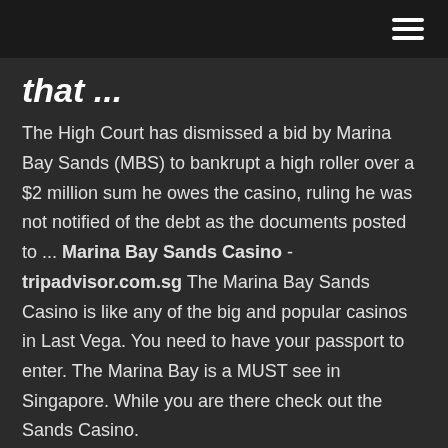that ...
The High Court has dismissed a bid by Marina Bay Sands (MBS) to bankrupt a high roller over a $2 million sum he owes the casino, ruling he was not notified of the debt as the documents posted to ... Marina Bay Sands Casino - tripadvisor.com.sg The Marina Bay Sands Casino is like any of the big and popular casinos in Last Vega. You need to have your passport to enter. The Marina Bay is a MUST see in Singapore. While you are there check out the Sands Casino.
Marina Bay Sands - World Casino Directory
Marina Bay Sands Casino Entry Rules - martinval.com